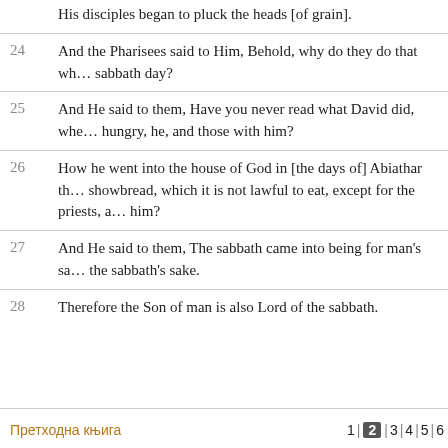His disciples began to pluck the heads [of grain].
24 And the Pharisees said to Him, Behold, why do they do that which is not lawful on the sabbath day?
25 And He said to them, Have you never read what David did, when he had need, and was hungry, he, and those with him?
26 How he went into the house of God in [the days of] Abiathar the high priest, and ate the showbread, which it is not lawful to eat, except for the priests, and also gave it to those with him?
27 And He said to them, The sabbath came into being for man's sake, and not man for the sabbath's sake.
28 Therefore the Son of man is also Lord of the sabbath.
Претходна књига   1 | 2 | 3 | 4 | 5 | 6